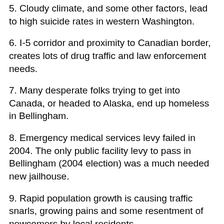5. Cloudy climate, and some other factors, lead to high suicide rates in western Washington.
6. I-5 corridor and proximity to Canadian border, creates lots of drug traffic and law enforcement needs.
7. Many desperate folks trying to get into Canada, or headed to Alaska, end up homeless in Bellingham.
8. Emergency medical services levy failed in 2004. The only public facility levy to pass in Bellingham (2004 election) was a much needed new jailhouse.
9. Rapid population growth is causing traffic snarls, growing pains and some resentment of newcomers by local residents.
10. Un like California with it's miles of "public access" beaches, much of our local shoreline is "private